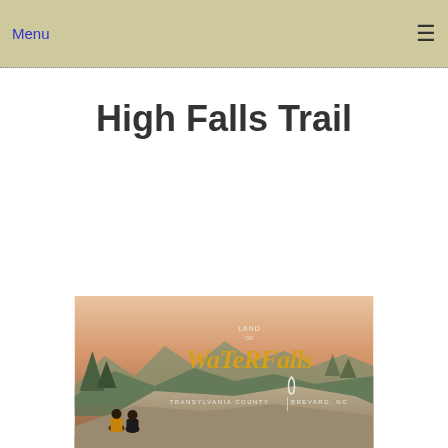Menu ☰
High Falls Trail
[Figure (illustration): Advertisement banner for Land of Waterfalls, Transylvania County, Brevard NC with scenic mountain background and two people sitting on a rock at sunset]